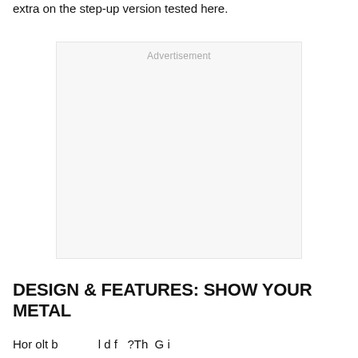extra on the step-up version tested here.
[Figure (other): Advertisement placeholder box with light gray background and 'Advertisement' label centered at top]
DESIGN & FEATURES: SHOW YOUR METAL
Hor olt b l d f ?Th G i